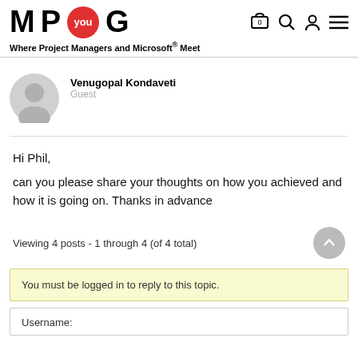M P you G — Where Project Managers and Microsoft® Meet
[Figure (illustration): User avatar — circular gray silhouette icon]
Venugopal Kondaveti
Guest
Hi Phil,

can you please share your thoughts on how you achieved and how it is going on. Thanks in advance
Viewing 4 posts - 1 through 4 (of 4 total)
You must be logged in to reply to this topic.
Username: